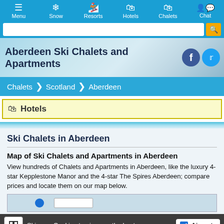Menu | Snow | Resorts | Hotels | Chalets | Chat
Aberdeen Ski Chalets and Apartments
Chalets > Scotland > Aberdeen
Hotels
Ski Chalets in Aberdeen
Map of Ski Chalets and Apartments in Aberdeen
View hundreds of Chalets and Apartments in Aberdeen, like the luxury 4-star Kepplestone Manor and the 4-star The Spires Aberdeen; compare prices and locate them on our map below.
[Figure (screenshot): Partial map preview showing a blue marker and a white box button]
Ski uses Cookies to give you the best exp
Airports